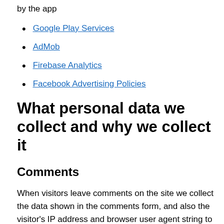by the app
Google Play Services
AdMob
Firebase Analytics
Facebook Advertising Policies
What personal data we collect and why we collect it
Comments
When visitors leave comments on the site we collect the data shown in the comments form, and also the visitor's IP address and browser user agent string to help spam detection.